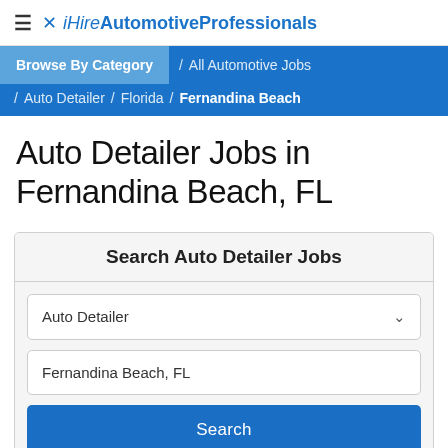≡ ✕ iHireAutomotiveProfessionals
Browse By Category / All Automotive Jobs / Auto Detailer / Florida / Fernandina Beach
Auto Detailer Jobs in Fernandina Beach, FL
Search Auto Detailer Jobs
Auto Detailer
Fernandina Beach, FL
Search